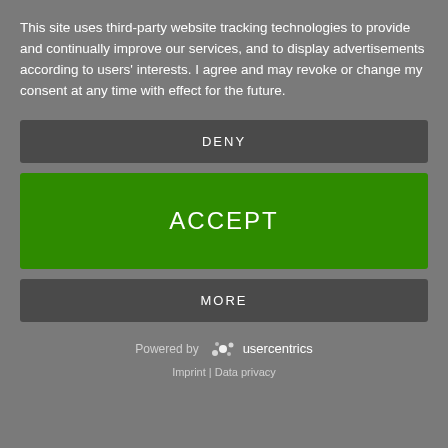This site uses third-party website tracking technologies to provide and continually improve our services, and to display advertisements according to users' interests. I agree and may revoke or change my consent at any time with effect for the future.
DENY
ACCEPT
MORE
Powered by usercentrics
Imprint | Data privacy